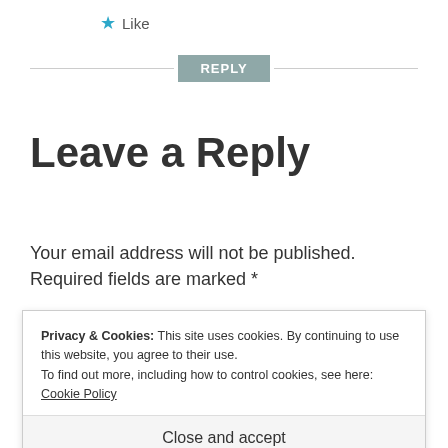★ Like
REPLY
Leave a Reply
Your email address will not be published. Required fields are marked *
Privacy & Cookies: This site uses cookies. By continuing to use this website, you agree to their use.
To find out more, including how to control cookies, see here: Cookie Policy
Close and accept